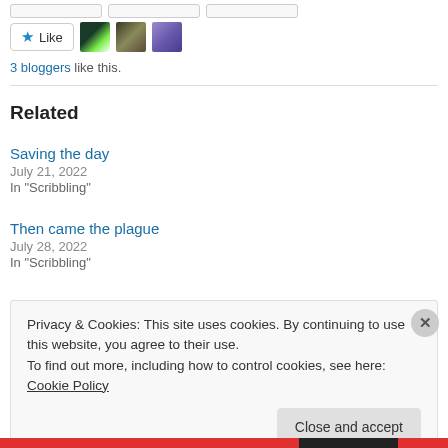[Figure (screenshot): Three stub buttons at top of page (partially visible tab buttons)]
[Figure (screenshot): Like button with star icon and three avatar thumbnails (forest/nature, person face, purple-toned avatar)]
3 bloggers like this.
Related
Saving the day
July 21, 2022
In "Scribbling"
Then came the plague
July 28, 2022
In "Scribbling"
Privacy & Cookies: This site uses cookies. By continuing to use this website, you agree to their use.
To find out more, including how to control cookies, see here: Cookie Policy
Close and accept